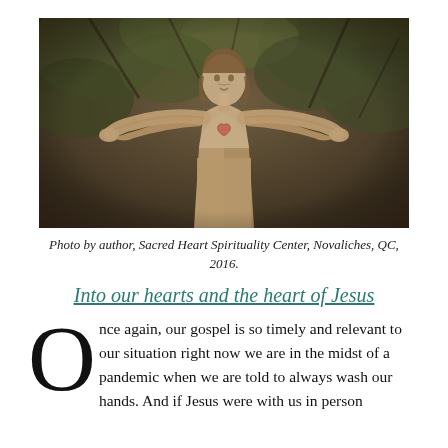[Figure (photo): Sepia-toned photograph of a statue of Jesus Christ with arms outstretched, set against a background of tree branches and leaves. The statue shows Jesus in robes with a sacred heart on his chest.]
Photo by author, Sacred Heart Spirituality Center, Novaliches, QC, 2016.
Into our hearts and the heart of Jesus
Once again, our gospel is so timely and relevant to our situation right now we are in the midst of a pandemic when we are told to always wash our hands. And if Jesus were with us in person